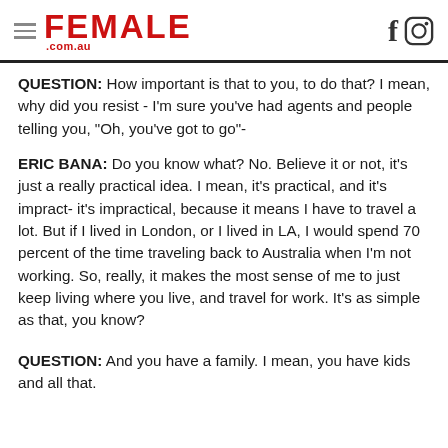FEMALE .com.au
QUESTION: How important is that to you, to do that? I mean, why did you resist - I'm sure you've had agents and people telling you, "Oh, you've got to go"-
ERIC BANA: Do you know what? No. Believe it or not, it's just a really practical idea. I mean, it's practical, and it's impract- it's impractical, because it means I have to travel a lot. But if I lived in London, or I lived in LA, I would spend 70 percent of the time traveling back to Australia when I'm not working. So, really, it makes the most sense of me to just keep living where you live, and travel for work. It's as simple as that, you know?
QUESTION: And you have a family. I mean, you have kids and all that.